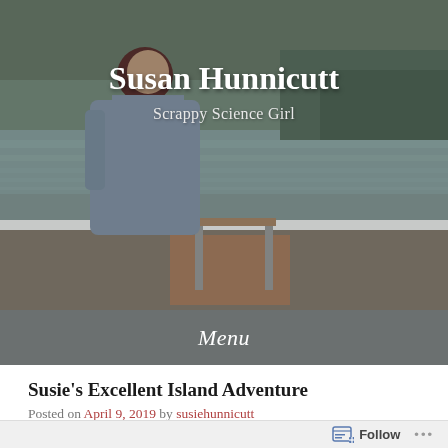[Figure (photo): A woman wearing glasses and a dark red beanie hat, in a grey-blue jacket, standing on a boat on a lake with trees in the background. Photo serves as the blog header image.]
Susan Hunnicutt
Scrappy Science Girl
Menu
Susie's Excellent Island Adventure
Posted on April 9, 2019 by susiehunnicutt
Follow ...